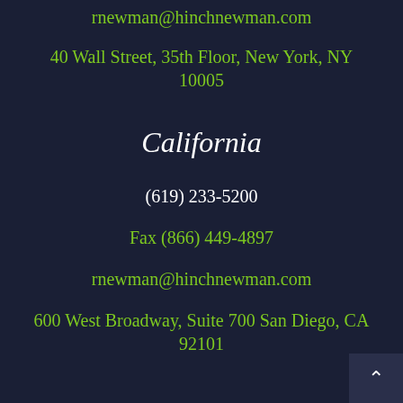rnewman@hinchnewman.com
40 Wall Street, 35th Floor, New York, NY 10005
California
(619) 233-5200
Fax (866) 449-4897
rnewman@hinchnewman.com
600 West Broadway, Suite 700 San Diego, CA 92101